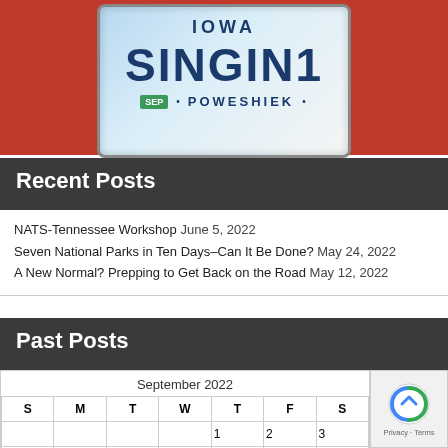[Figure (photo): Iowa license plate reading SINGIN1 from Poweshiek county with a SEP sticker, mounted on a red vehicle]
Recent Posts
NATS-Tennessee Workshop June 5, 2022
Seven National Parks in Ten Days–Can It Be Done? May 24, 2022
A New Normal? Prepping to Get Back on the Road May 12, 2022
Past Posts
| S | M | T | W | T | F | S |
| --- | --- | --- | --- | --- | --- | --- |
|  |  |  |  | 1 | 2 | 3 |